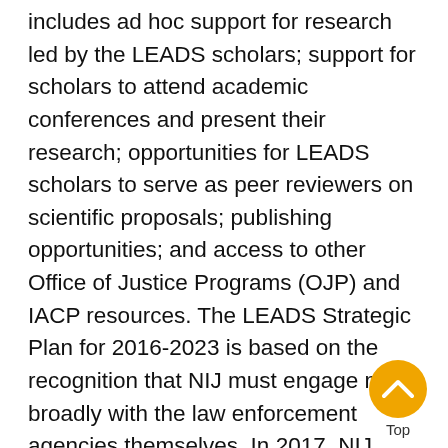includes ad hoc support for research led by the LEADS scholars; support for scholars to attend academic conferences and present their research; opportunities for LEADS scholars to serve as peer reviewers on scientific proposals; publishing opportunities; and access to other Office of Justice Programs (OJP) and IACP resources. The LEADS Strategic Plan for 2016-2023 is based on the recognition that NIJ must engage more broadly with the law enforcement agencies themselves. In 2017, NIJ launched the LEADS Agencies program, which is intended to increase agency effectiveness. The program is tailored to agencies' needs, as it addresses capacity-building and assistance along a continuum that includes data collection and analysis, integration of existing evidence into policies and practices, and the development of in-house research capabilities. Other priorities of the